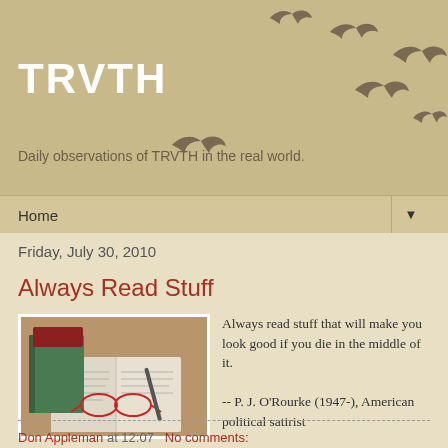TRVTH
Daily observations of TRVTH in the real world.
[Figure (illustration): Silhouettes of birds in flight against a tan/beige background, decorating the blog header]
Home
Friday, July 30, 2010
Always Read Stuff
[Figure (photo): Photo of stacked books, an open book with red-framed reading glasses resting on it, and a pen, on a wooden surface]
Always read stuff that will make you look good if you die in the middle of it.

-- P. J. O'Rourke (1947-), American political satirist
Don Appleman at 12:07   No comments: